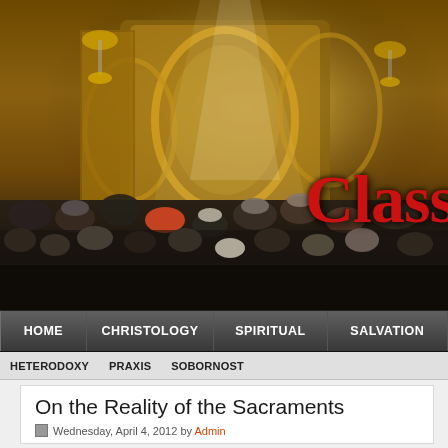[Figure (photo): Interior of an ornate Orthodox Christian church with golden iconostasis, chandeliers, and congregation of worshippers. Text overlay reads 'Classical C' (partially visible) in large red serif font.]
HOME | CHRISTOLOGY | SPIRITUAL | SALVATION
HETERODOXY   PRAXIS   SOBORNOST
On the Reality of the Sacraments
Wednesday, April 4, 2012 by Admin